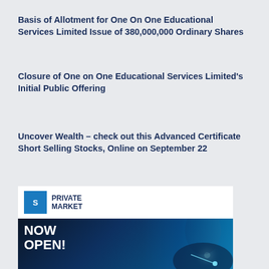Basis of Allotment for One On One Educational Services Limited Issue of 380,000,000 Ordinary Shares
Closure of One on One Educational Services Limited's Initial Public Offering
Uncover Wealth – check out this Advanced Certificate Short Selling Stocks, Online on September 22
[Figure (illustration): Advertisement banner for SGX Private Market showing logo with 'PRIVATE MARKET' text and 'NOW OPEN!' text on dark blue background with glowing light point and person in suit background]